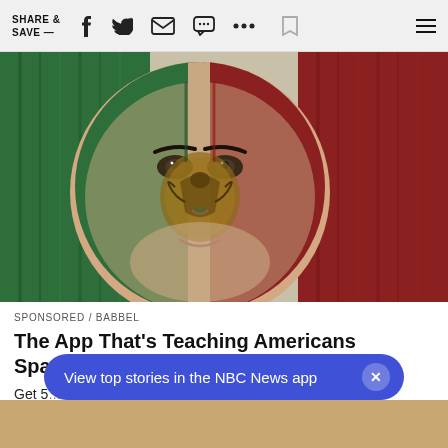SHARE & SAVE —
[Figure (photo): Person with face painted as the Mexican flag, set against a wooden Mexican flag background with green, white, and red stripes and the Mexican coat of arms eagle emblem.]
SPONSORED / BABBEL
The App That's Teaching Americans Spanish In 15 Minutes A Day
Get 5[partially obscured text]
View top stories in the NBC News app